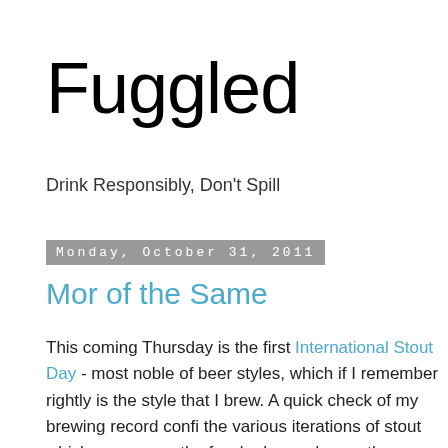Fuggled
Drink Responsibly, Don't Spill
Monday, October 31, 2011
Mor of the Same
This coming Thursday is the first International Stout Day - most noble of beer styles, which if I remember rightly is the style that I brew. A quick check of my brewing record confi the various iterations of stout which are among the few be brewed more than once.